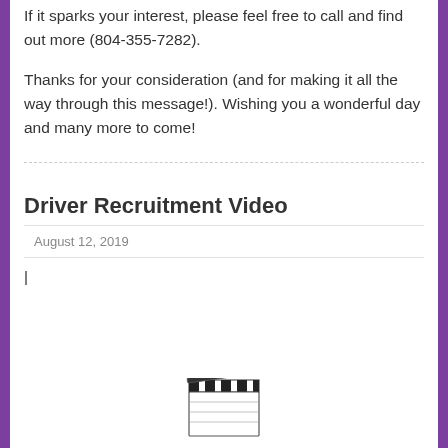If it sparks your interest, please feel free to call and find out more (804-355-7282).
Thanks for your consideration (and for making it all the way through this message!). Wishing you a wonderful day and many more to come!
Driver Recruitment Video
August 12, 2019
|
[Figure (illustration): A film clapperboard illustration at the bottom of the page]